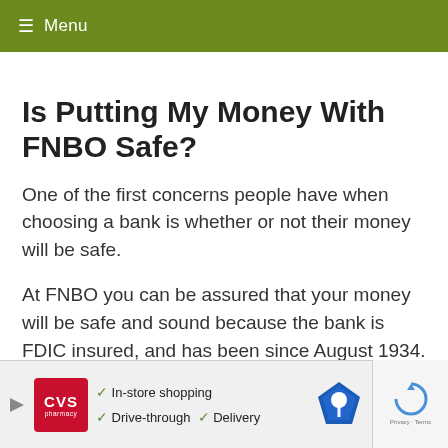≡ Menu
Is Putting My Money With FNBO Safe?
One of the first concerns people have when choosing a bank is whether or not their money will be safe.
At FNBO you can be assured that your money will be safe and sound because the bank is FDIC insured, and has been since August 1934. If you deposit your money and the bank goes under, you'll be fine – as long as you don't have more deposited than the FDIC insurance will... Currently...